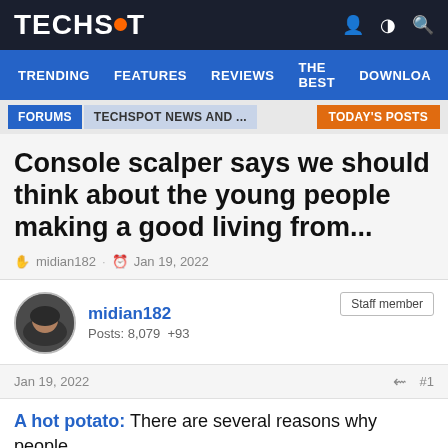TECHSPOT
TRENDING FEATURES REVIEWS THE BEST DOWNLOA
FORUMS | TECHSPOT NEWS AND ... | TODAY'S POSTS
Console scalper says we should think about the young people making a good living from...
midian182 · Jan 19, 2022
midian182
Posts: 8,079  +93
Staff member
Jan 19, 2022  #1
A hot potato: There are several reasons why people